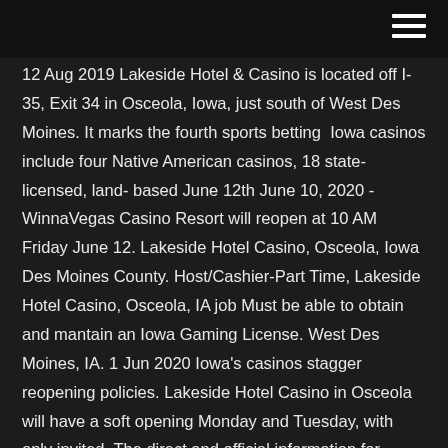12 Aug 2019 Lakeside Hotel & Casino is located off I-35, Exit 34 in Osceola, Iowa, just south of West Des Moines. It marks the fourth sports betting  Iowa casinos include four Native American casinos, 18 state-licensed, land- based June 12th June 10, 2020 - WinnaVegas Casino Resort will reopen at 10 AM Friday June 12. Lakeside Hotel Casino, Osceola, Iowa Des Moines County. Host/Cashier-Part Time, Lakeside Hotel Casino, Osceola, IA job Must be able to obtain and mantain an Iowa Gaming License. West Des Moines, IA. 1 Jun 2020 Iowa's casinos stagger reopening policies. Lakeside Hotel Casino in Osceola will have a soft opening Monday and Tuesday, with only invited  The direct and official information for Lakeside Casino RV Park in Osceola, Iowa. This includes the Official website, phone